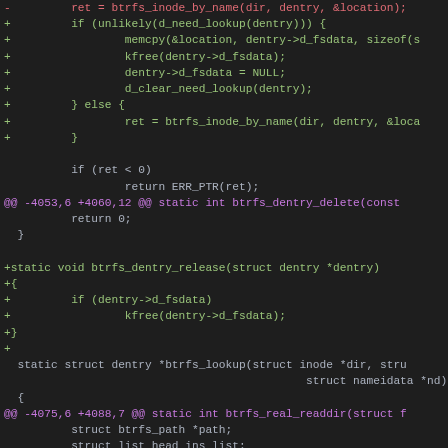[Figure (screenshot): Code diff screenshot showing btrfs filesystem code changes in a dark-themed editor. Lines prefixed with '-' are in red (removed), lines with '+' are in green (added), hunk headers '@@' are in magenta, and context lines are in white/light gray.]